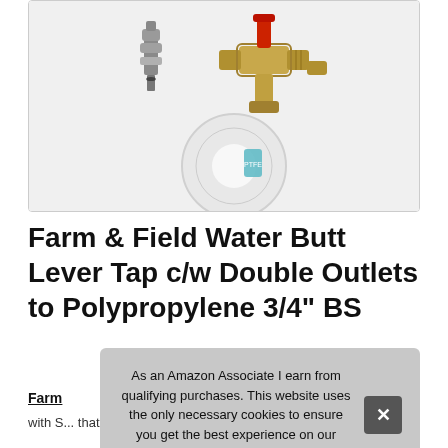[Figure (photo): Product photo showing plumbing parts: brass lever tap with double outlets, connectors, and PTFE tape roll on a white/grey background]
Farm & Field Water Butt Lever Tap c/w Double Outlets to Polypropylene 3/4" BS
As an Amazon Associate I earn from qualifying purchases. This website uses the only necessary cookies to ensure you get the best experience on our website. More information
Farm
with 5... that... S... supplied with a roll of PTFE Pl... let...